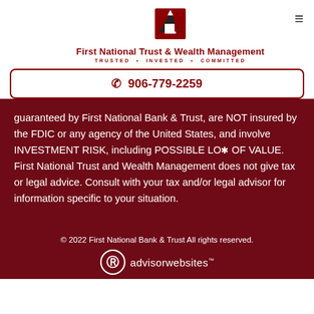[Figure (logo): First National Trust & Wealth Management logo with stylized '1' icon in dark red]
First National Trust & Wealth Management
TRUSTED · INVESTED · COMMITTED
☎ 906-779-2259
guaranteed by First National Bank & Trust, are NOT insured by the FDIC or any agency of the United States, and involve INVESTMENT RISK, including POSSIBLE LOSS OF VALUE. First National Trust and Wealth Management does not give tax or legal advice. Consult with your tax and/or legal advisor for information specific to your situation.
© 2022 First National Bank & Trust All rights reserved.
[Figure (logo): advisorwebsites™ logo with circular icon]